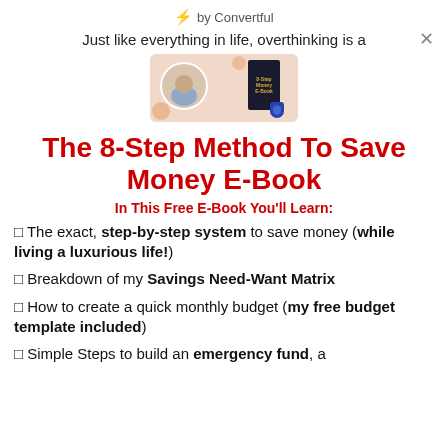⚡ by Convertful
Just like everything in life, overthinking is a
[Figure (photo): Promotional image showing a person and a dark book cover on a peach/light brown background]
The 8-Step Method To Save Money E-Book
In This Free E-Book You'll Learn:
✓ The exact, step-by-step system to save money (while living a luxurious life!)
✓ Breakdown of my Savings Need-Want Matrix
✓ How to create a quick monthly budget (my free budget template included)
✓ Simple Steps to build an emergency fund, a